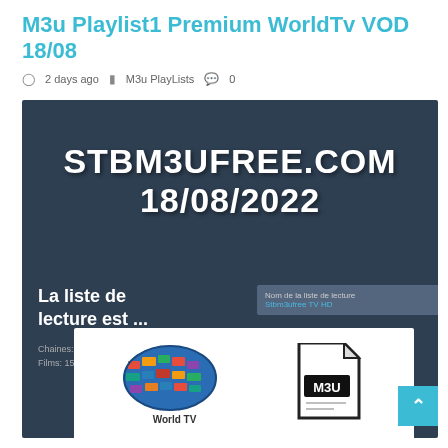M3u Playlist1 Premium WorldTv VOD 18/08
2 days ago  M3u PlayLists  0
[Figure (screenshot): Screenshot of stbm3ufree.com website showing bold white text 'STBM3UFREE.COM' and '18/08/2022' on dark blue background, with partial interface showing playlist info, World TV globe logo, and M3U file icon]